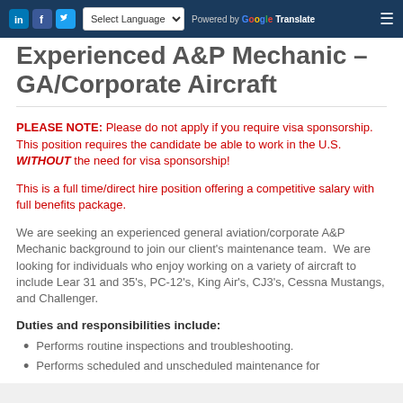LinkedIn Facebook Twitter | Select Language | Powered by Google Translate
Experienced A&P Mechanic – GA/Corporate Aircraft
PLEASE NOTE: Please do not apply if you require visa sponsorship. This position requires the candidate be able to work in the U.S. WITHOUT the need for visa sponsorship!
This is a full time/direct hire position offering a competitive salary with full benefits package.
We are seeking an experienced general aviation/corporate A&P Mechanic background to join our client's maintenance team.  We are looking for individuals who enjoy working on a variety of aircraft to include Lear 31 and 35's, PC-12's, King Air's, CJ3's, Cessna Mustangs, and Challenger.
Duties and responsibilities include:
Performs routine inspections and troubleshooting.
Performs scheduled and unscheduled maintenance for ...